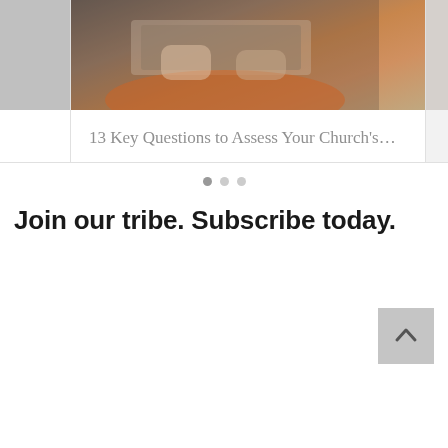[Figure (photo): Carousel card strip showing a center card with a photo of hands holding/using a tablet or laptop, with text '13 Key Questions to Assess Your Church's...' below the photo. Partial cards visible on left and right edges.]
13 Key Questions to Assess Your Church's…
[Figure (infographic): Carousel navigation dots: three dots, first filled/dark, second and third lighter/outline style]
Join our tribe. Subscribe today.
[Figure (infographic): Back to top button: gray square button with an upward-pointing chevron/caret arrow icon]